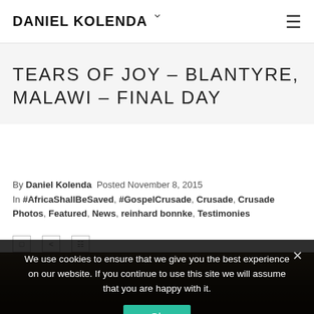DANIEL KOLENDA
TEARS OF JOY – BLANTYRE, MALAWI – FINAL DAY
By Daniel Kolenda  Posted November 8, 2015  In #AfricaShallBeSaved, #GospelCrusade, Crusade, Crusade Photos, Featured, News, reinhard bonnke, Testimonies
[Figure (photo): Crowd photo from Blantyre Malawi crusade at night]
We use cookies to ensure that we give you the best experience on our website. If you continue to use this site we will assume that you are happy with it.